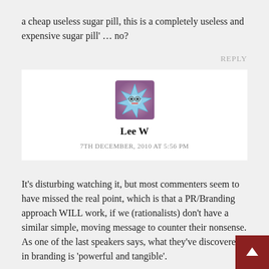a cheap useless sugar pill, this is a completely useless and expensive sugar pill' … no?
REPLY
[Figure (illustration): Avatar icon of a stylized star-shaped character with glasses, blue and purple colors]
Lee W
7TH DECEMBER, 2010 AT 5:56 PM
It's disturbing watching it, but most commenters seem to have missed the real point, which is that a PR/Branding approach WILL work, if we (rationalists) don't have a similar simple, moving message to counter their nonsense. As one of the last speakers says, what they've discovered in branding is 'powerful and tangible'.